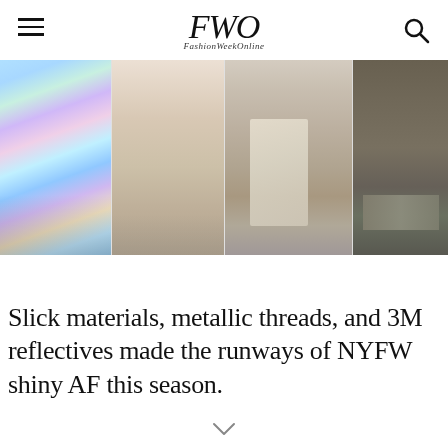FWO — FashionWeekOnline
[Figure (photo): Four fashion runway photos side by side showing lower body/leg shots: (1) iridescent holographic fabric outfit with black boots, (2) tan/beige draped garment with teal boots carrying a light blue bag, (3) metallic patterned dress/coat with a cream structured handbag, (4) olive green pants with a dark shiny jacket and black sneakers.]
Slick materials, metallic threads, and 3M reflectives made the runways of NYFW shiny AF this season.